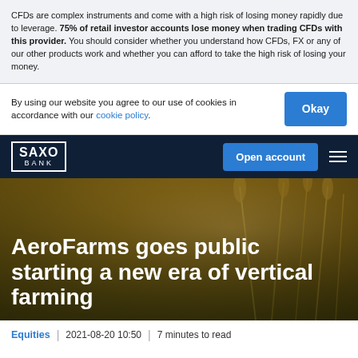CFDs are complex instruments and come with a high risk of losing money rapidly due to leverage. 75% of retail investor accounts lose money when trading CFDs with this provider. You should consider whether you understand how CFDs, FX or any of our other products work and whether you can afford to take the high risk of losing your money.
By using our website you agree to our use of cookies in accordance with our cookie policy.
SAXO BANK | Open account
AeroFarms goes public starting a new era of vertical farming
Equities | 2021-08-20 10:50 | 7 minutes to read